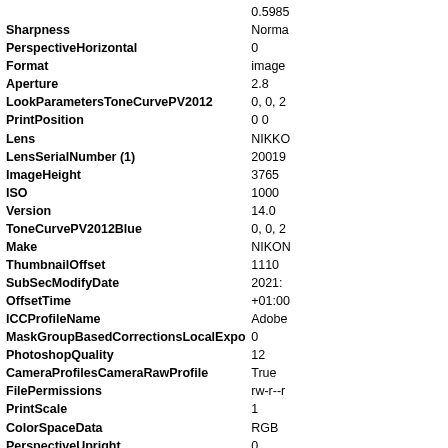| Key | Value |
| --- | --- |
|  | 0.5985 |
| Sharpness | Normal |
| PerspectiveHorizontal | 0 |
| Format | image |
| Aperture | 2.8 |
| LookParametersToneCurvePV2012 | 0, 0, 2 |
| PrintPosition | 0 0 |
| Lens | NIKKO |
| LensSerialNumber (1) | 20019 |
| ImageHeight | 3765 |
| ISO | 1000 |
| Version | 14.0 |
| ToneCurvePV2012Blue | 0, 0, 2 |
| Make | NIKON |
| ThumbnailOffset | 1110 |
| SubSecModifyDate | 2021: |
| OffsetTime | +01:0 |
| ICCProfileName | Adobe |
| MaskGroupBasedCorrectionsLocalExposure | 0 |
| PhotoshopQuality | 12 |
| CameraProfilesCameraRawProfile | True |
| FilePermissions | rw-r--r |
| PrintScale | 1 |
| ColorSpaceData | RGB |
| PerspectiveUpright | 0 |
| EncodingProcess | Baseli |
| FileModifyDate | 2021: |
| ScaleFactor35efl | 1.0 |
| Sharpness (1) | 40 |
| DerivedFromDocumentID | xmp.d |
| LensModel (1) | NIKKO |
| ApertureValue | 2.8 |
| HueAdjustmentMagenta | 0 |
| HyperfocalDistance | 14.56 |
| ColorTemperature | 7250 |
| MediaWhitePoint | 0.9504 |
| LookParametersCameraProfile | Adobe |
| MaskGroupBasedCorrectionsLocalTexture | 0.53 |